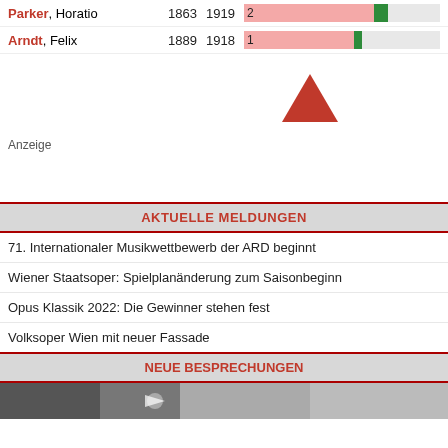| Name | Birth | Death | Count | Bar |
| --- | --- | --- | --- | --- |
| Parker, Horatio | 1863 | 1919 | 2 | bar |
| Arndt, Felix | 1889 | 1918 | 1 | bar |
[Figure (other): Red upward-pointing triangle symbol centered on page]
Anzeige
Aktuelle Meldungen
71. Internationaler Musikwettbewerb der ARD beginnt
Wiener Staatsoper: Spielplanänderung zum Saisonbeginn
Opus Klassik 2022: Die Gewinner stehen fest
Volksoper Wien mit neuer Fassade
Neue Besprechungen
[Figure (photo): Partial photo strip visible at bottom of page]